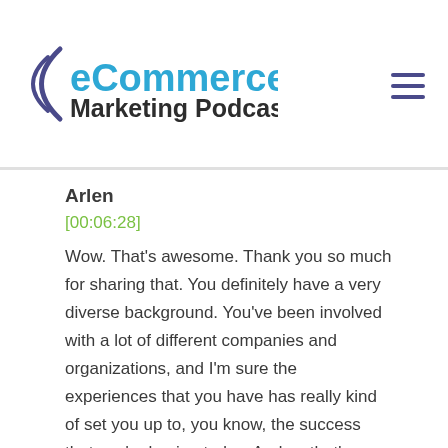eCommerce Marketing Podcast
Arlen
[00:06:28]
Wow. That's awesome. Thank you so much for sharing that. You definitely have a very diverse background. You've been involved with a lot of different companies and organizations, and I'm sure the experiences that you have has really kind of set you up to, you know, the success that you're having today. And so that's, that's really, really awesome. It's interesting how, like you said, right at the pandemic where your, your wife had been really kind of already up and running with the web, the business. Yes. And then you kind of coming in there and of course adding